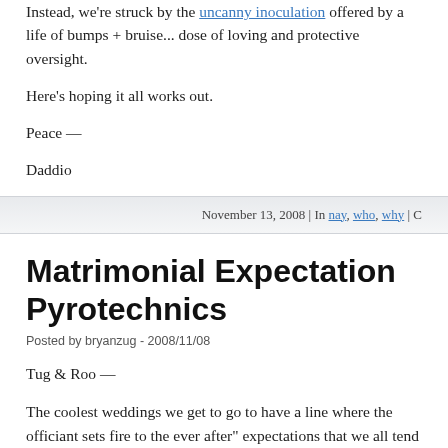Instead, we're struck by the uncanny inoculation offered by a life of bumps + bruise... dose of loving and protective oversight.
Here's hoping it all works out.
Peace —
Daddio
November 13, 2008 | In nay, who, why | C
Matrimonial Expectation Pyrotechnics
Posted by bryanzug - 2008/11/08
Tug & Roo —
The coolest weddings we get to go to have a line where the officiant sets fire to the ever after" expectations that we all tend to smuggle into such gatherings.
These matrimonial expectation pyrotechnics often go something like this —
Officiant — "I'd like to take a moment to point out the only problems that exist with this marriage…"